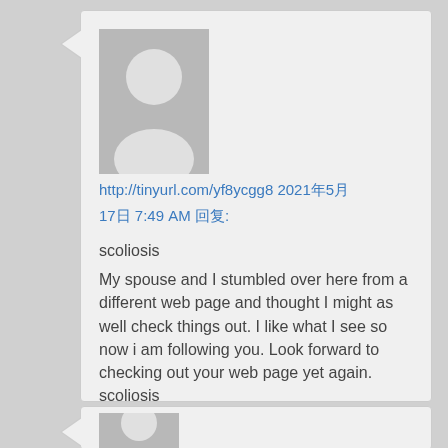[Figure (illustration): Generic user avatar placeholder - gray silhouette of a person on gray background]
http://tinyurl.com/yf8ycgg8 2021年5月
17日 7:49 AM 回复:
scoliosis
My spouse and I stumbled over here from a different web page and thought I might as well check things out. I like what I see so now i am following you. Look forward to checking out your web page yet again. scoliosis
[Figure (illustration): Generic user avatar placeholder - gray silhouette of a person on gray background, partially visible at bottom]